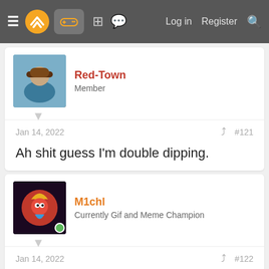Navigation bar with hamburger menu, logo, controller icon, grid icon, chat icon, Log in, Register, Search
Red-Town
Member
Jan 14, 2022  #121
Ah shit guess I'm double dipping.
M1chl
Currently Gif and Meme Champion
Jan 14, 2022  #122
SlimySnake said: But Batman AK like most games in the first half of last gen was running on directx 10 back then. I think you had to enable directx 11 for those fancy nvidia smoke and other physics. Is it because AK was primarily developed on PC while the Sony exclusives are developed on consoles? I thought all games were developed on